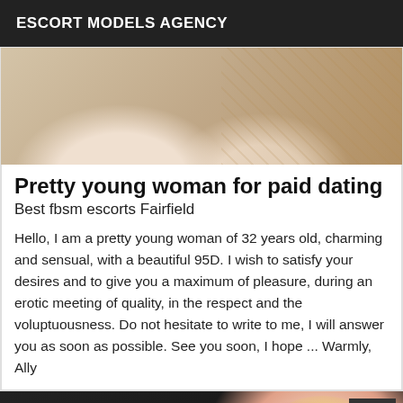ESCORT MODELS AGENCY
[Figure (photo): Close-up photo of a woman's back/torso against a floral wallpaper background]
Pretty young woman for paid dating
Best fbsm escorts Fairfield
Hello, I am a pretty young woman of 32 years old, charming and sensual, with a beautiful 95D. I wish to satisfy your desires and to give you a maximum of pleasure, during an erotic meeting of quality, in the respect and the voluptuousness. Do not hesitate to write to me, I will answer you as soon as possible. See you soon, I hope ... Warmly, Ally
[Figure (photo): Photo of a blonde woman in red clothing against a dark background, with a VIP badge in the corner]